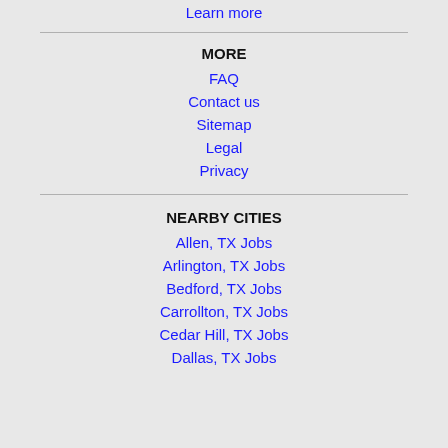Learn more
MORE
FAQ
Contact us
Sitemap
Legal
Privacy
NEARBY CITIES
Allen, TX Jobs
Arlington, TX Jobs
Bedford, TX Jobs
Carrollton, TX Jobs
Cedar Hill, TX Jobs
Dallas, TX Jobs